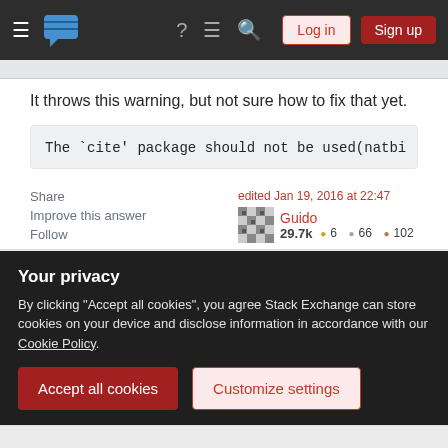Stack Exchange navigation bar with Log in and Sign up buttons
It throws this warning, but not sure how to fix that yet.
The `cite' package should not be used(natbi
Share
Improve this answer
Follow
edited Jan 19, 2016 at 22:47
Guido
29.7k 6 66 102
answered Jul 23, 2015 at 10:58
Your privacy
By clicking "Accept all cookies", you agree Stack Exchange can store cookies on your device and disclose information in accordance with our Cookie Policy.
Accept all cookies
Customize settings